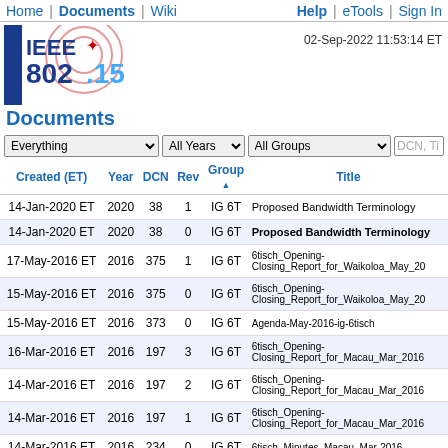Home | Documents | Wiki    Help | eTools | Sign In
[Figure (logo): IEEE 802.15 logo with blue and red design]
02-Sep-2022 11:53:14 ET
Documents
Filter dropdowns: Everything, All Years, All Groups, DCN/Title search
| Created (ET) | Year | DCN | Rev | Group ▲ | Title |
| --- | --- | --- | --- | --- | --- |
| 14-Jan-2020 ET | 2020 | 38 | 1 | IG 6T | Proposed Bandwidth Terminology |
| 14-Jan-2020 ET | 2020 | 38 | 0 | IG 6T | Proposed Bandwidth Terminology |
| 17-May-2016 ET | 2016 | 375 | 1 | IG 6T | 6tisch_Opening-Closing_Report_for_Waikoloa_May_20 |
| 15-May-2016 ET | 2016 | 375 | 0 | IG 6T | 6tisch_Opening-Closing_Report_for_Waikoloa_May_20 |
| 15-May-2016 ET | 2016 | 373 | 0 | IG 6T | Agenda-May-2016-ig-6tisch |
| 16-Mar-2016 ET | 2016 | 197 | 3 | IG 6T | 6tisch_Opening-Closing_Report_for_Macau_Mar_2016 |
| 14-Mar-2016 ET | 2016 | 197 | 2 | IG 6T | 6tisch_Opening-Closing_Report_for_Macau_Mar_2016 |
| 14-Mar-2016 ET | 2016 | 197 | 1 | IG 6T | 6tisch_Opening-Closing_Report_for_Macau_Mar_2016 |
| 14-Mar-2016 ET | 2016 | 234 | 0 | IG 6T | 6tisch_Minutes_Macau_Mar-2016 |
| 12-Mar-2016 ET | 2016 | 197 | 0 | IG 6T | 6tisch_Opening-... |